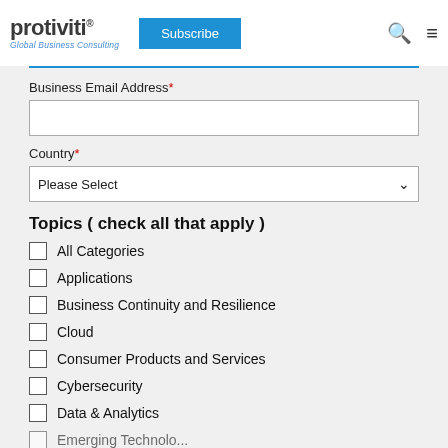protiviti® Global Business Consulting | Subscribe
Business Email Address*
Country*
Please Select
Topics ( check all that apply )
All Categories
Applications
Business Continuity and Resilience
Cloud
Consumer Products and Services
Cybersecurity
Data & Analytics
Emerging Technology (partial)